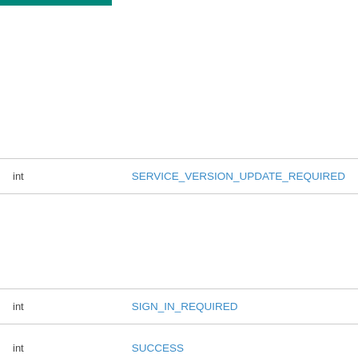| Type | Name |
| --- | --- |
| int | SERVICE_VERSION_UPDATE_REQUIRED |
| int | SIGN_IN_REQUIRED |
| int | SUCCESS |
| int | SUCCESS_CACHE |